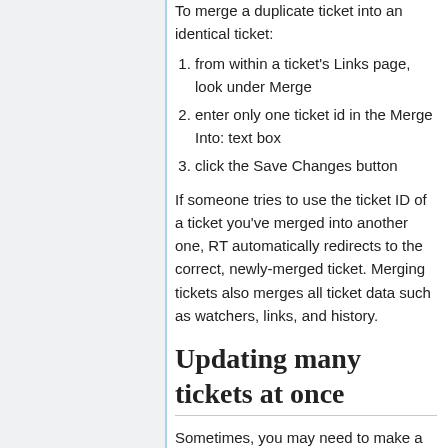To merge a duplicate ticket into an identical ticket:
from within a ticket's Links page, look under Merge
enter only one ticket id in the Merge Into: text box
click the Save Changes button
If someone tries to use the ticket ID of a ticket you've merged into another one, RT automatically redirects to the correct, newly-merged ticket. Merging tickets also merges all ticket data such as watchers, links, and history.
Updating many tickets at once
Sometimes, you may need to make a change to several tickets at once.